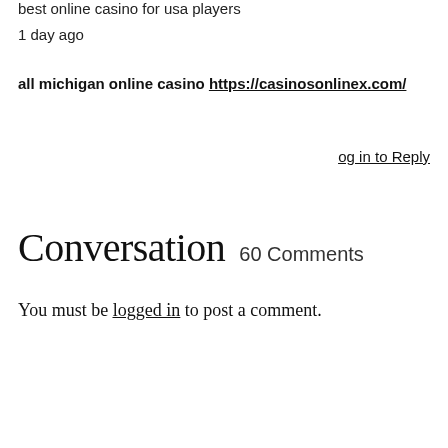best online casino for usa players
1 day ago
all michigan online casino https://casinosonlinex.com/
og in to Reply
Conversation  60 Comments
You must be logged in to post a comment.